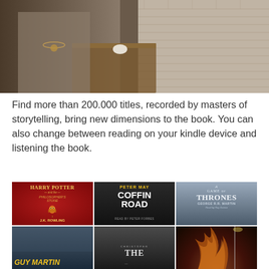[Figure (photo): Woman sitting at a rustic outdoor cafe table, holding a smartphone, wearing layered necklaces and a woven shawl, brick wall background]
Find more than 200.000 titles, recorded by masters of storytelling, bring new dimensions to the book. You can also change between reading on your kindle device and listening the book.
[Figure (photo): Grid of audiobook covers including Harry Potter and the Philosopher's Stone by J.K. Rowling, Coffin Road by Peter May (Read by Peter Forbes), A Game of Thrones by George R.R. Martin (Read by Roy Dotrice), Guy Martin, The (title partially visible), and a dark/fire themed cover]